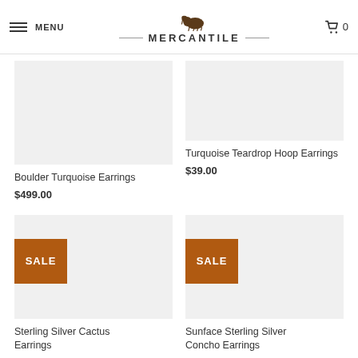MENU | MERCANTILE | 0
[Figure (photo): Boulder Turquoise Earrings product image placeholder]
Boulder Turquoise Earrings
$499.00
[Figure (photo): Turquoise Teardrop Hoop Earrings product image placeholder]
Turquoise Teardrop Hoop Earrings
$39.00
[Figure (photo): Sterling Silver Cactus Earrings product image with SALE badge]
Sterling Silver Cactus Earrings
[Figure (photo): Sunface Sterling Silver Concho Earrings product image with SALE badge]
Sunface Sterling Silver Concho Earrings